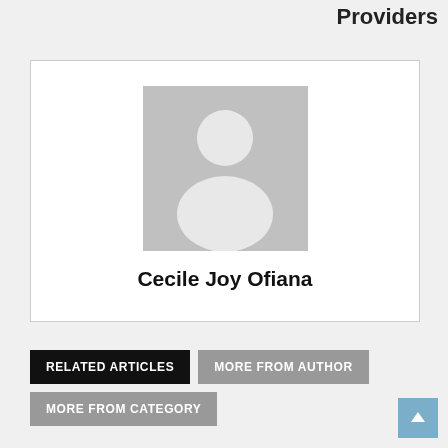Providers
[Figure (illustration): Default user avatar placeholder image — grey square with white silhouette of a person (head and shoulders)]
Cecile Joy Ofiana
RELATED ARTICLES
MORE FROM AUTHOR
MORE FROM CATEGORY